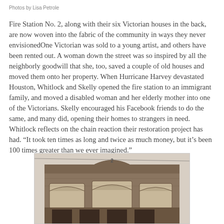Photos by Lisa Petrole
Fire Station No. 2, along with their six Victorian houses in the back, are now woven into the fabric of the community in ways they never envisionedOne Victorian was sold to a young artist, and others have been rented out. A woman down the street was so inspired by all the neighborly goodwill that she, too, saved a couple of old houses and moved them onto her property. When Hurricane Harvey devastated Houston, Whitlock and Skelly opened the fire station to an immigrant family, and moved a disabled woman and her elderly mother into one of the Victorians. Skelly encouraged his Facebook friends to do the same, and many did, opening their homes to strangers in need. Whitlock reflects on the chain reaction their restoration project has had. “It took ten times as long and twice as much money, but it’s been 100 times greater than we ever imagined.”
[Figure (photo): Black and white historical photograph of Fire Station No. 2, a two-story brick building with arched windows and decorative facade, with the number 2 visible above the entrance.]